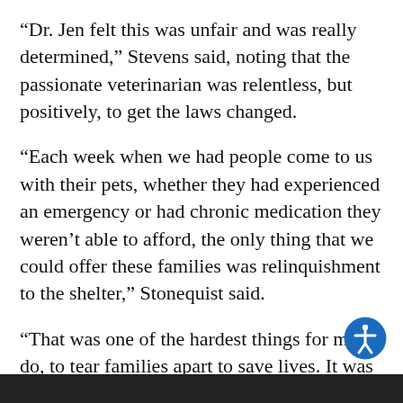“Dr. Jen felt this was unfair and was really determined,” Stevens said, noting that the passionate veterinarian was relentless, but positively, to get the laws changed.
“Each week when we had people come to us with their pets, whether they had experienced an emergency or had chronic medication they weren’t able to afford, the only thing that we could offer these families was relinquishment to the shelter,” Stonequist said.
“That was one of the hardest things for me to do, to tear families apart to save lives. It was then that I knew that this antiquated law really needed to be challenged.”